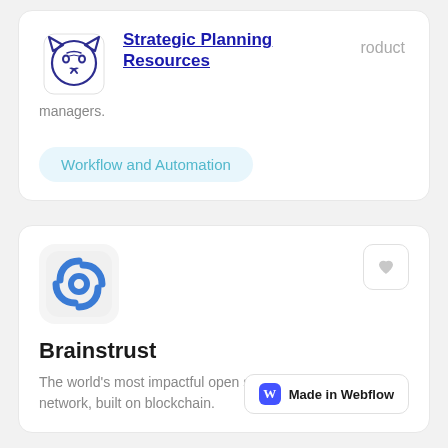[Figure (logo): Wolf face icon (outline style) for Strategic Planning Resources]
Strategic Planning Resources
managers.
Workflow and Automation
[Figure (logo): Brainstrust blue geometric circular logo on light grey rounded square background]
Brainstrust
The world's most impactful open source user-owned talent network, built on blockchain.
Made in Webflow